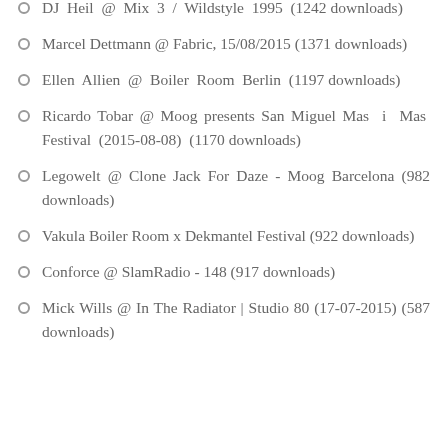DJ Hell @ Mix 3 / Wildstyle 1995 (1242 downloads)
Marcel Dettmann @ Fabric, 15/08/2015 (1371 downloads)
Ellen Allien @ Boiler Room Berlin (1197 downloads)
Ricardo Tobar @ Moog presents San Miguel Mas i Mas Festival (2015-08-08) (1170 downloads)
Legowelt @ Clone Jack For Daze - Moog Barcelona (982 downloads)
Vakula Boiler Room x Dekmantel Festival (922 downloads)
Conforce @ SlamRadio - 148 (917 downloads)
Mick Wills @ In The Radiator | Studio 80 (17-07-2015) (587 downloads)